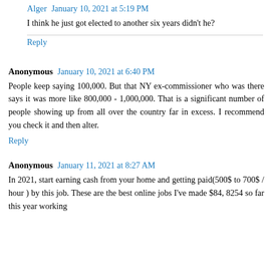Alger  January 10, 2021 at 5:19 PM
I think he just got elected to another six years didn't he?
Reply
Anonymous  January 10, 2021 at 6:40 PM
People keep saying 100,000. But that NY ex-commissioner who was there says it was more like 800,000 - 1,000,000. That is a significant number of people showing up from all over the country far in excess. I recommend you check it and then alter.
Reply
Anonymous  January 11, 2021 at 8:27 AM
In 2021, start earning cash from your home and getting paid(500$ to 700$ / hour ) by this job. These are the best online jobs I've made $84, 8254 so far this year working